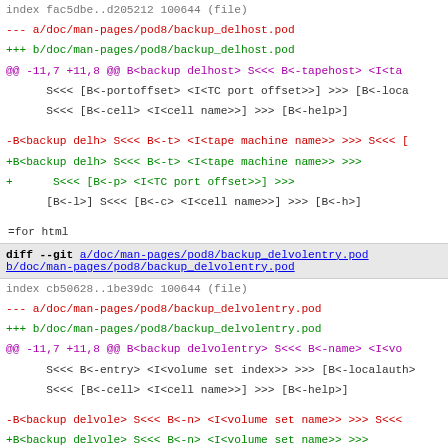index fac5dbe..d205212 100644 (file)
--- a/doc/man-pages/pod8/backup_delhost.pod
+++ b/doc/man-pages/pod8/backup_delhost.pod
@@ -11,7 +11,8 @@ B<backup delhost> S<<< B<-tapehost> <I<ta...
S<<< [B<-portoffset> <I<TC port offset>>] >>> [B<-local...
S<<< [B<-cell> <I<cell name>>] >>> [B<-help>]
-B<backup delh> S<<< B<-t> <I<tape machine name>> >>> S<<< [...
+B<backup delh> S<<< B<-t> <I<tape machine name>> >>>
+     S<<< [B<-p> <I<TC port offset>>] >>>
[B<-l>] S<<< [B<-c> <I<cell name>>] >>> [B<-h>]
=for html
diff --git a/doc/man-pages/pod8/backup_delvolentry.pod b/doc/man-pages/pod8/backup_delvolentry.pod
index cb50628..1be39dc 100644 (file)
--- a/doc/man-pages/pod8/backup_delvolentry.pod
+++ b/doc/man-pages/pod8/backup_delvolentry.pod
@@ -11,7 +11,8 @@ B<backup delvolentry> S<<< B<-name> <I<vo...
S<<< B<-entry> <I<volume set index>> >>> [B<-localauth>...
S<<< [B<-cell> <I<cell name>>] >>> [B<-help>]
-B<backup delvole> S<<< B<-n> <I<volume set name>> >>> S<<<...
+B<backup delvole> S<<< B<-n> <I<volume set name>> >>>
+     S<<< B<-e> <I<volume set index>> >>>
[B<-l>] S<<< [B<-c> <I<cell name>>] >>> [B<-h>]
=for html
diff --git a/doc/man-pages/pod8/backup_diskrestore.pod b/doc/man-pages/pod8/backup_diskrestore.pod